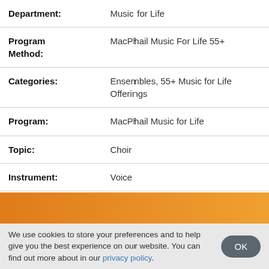| Department: | Music for Life |
| Program Method: | MacPhail Music For Life 55+ |
| Categories: | Ensembles, 55+ Music for Life Offerings |
| Program: | MacPhail Music for Life |
| Topic: | Choir |
| Instrument: | Voice |
We use cookies to store your preferences and to help give you the best experience on our website. You can find out more about in our privacy policy.